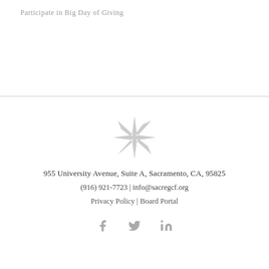Participate in Big Day of Giving
[Figure (logo): Sacramento Region Community Foundation star/compass rose logo in light gray]
955 University Avenue, Suite A, Sacramento, CA, 95825
(916) 921-7723 | info@sacregcf.org
Privacy Policy | Board Portal
[Figure (other): Social media icons: Facebook, Twitter, LinkedIn in gray]